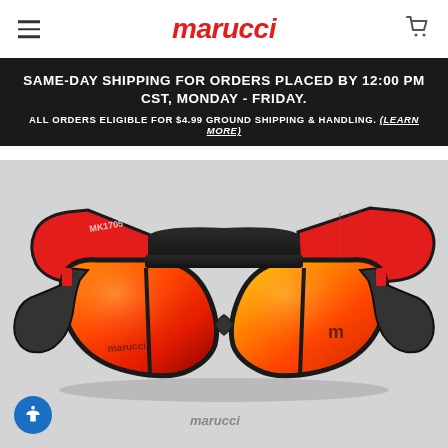marucci
SAME-DAY SHIPPING FOR ORDERS PLACED BY 12:00 PM CST, MONDAY - FRIDAY.
ALL ORDERS ELIGIBLE FOR $4.99 GROUND SHIPPING & HANDLING. (Learn more)
[Figure (photo): Marucci sports sunglasses with black frame and red temples, orange-red mirrored lenses, shown at an angle on a light grey background. The word 'marucci' is visible on the lower lens area and 'M' logo on the temple.]